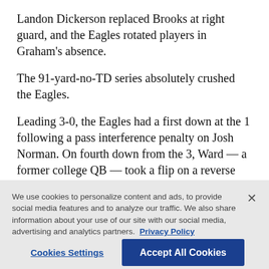Landon Dickerson replaced Brooks at right guard, and the Eagles rotated players in Graham’s absence.
The 91-yard-no-TD series absolutely crushed the Eagles.
Leading 3-0, the Eagles had a first down at the 1 following a pass interference penalty on Josh Norman. On fourth down from the 3, Ward — a former college QB — took a flip on a reverse and threw an incomplete pass to Hurts in the back of the
We use cookies to personalize content and ads, to provide social media features and to analyze our traffic. We also share information about your use of our site with our social media, advertising and analytics partners. Privacy Policy
Cookies Settings
Accept All Cookies